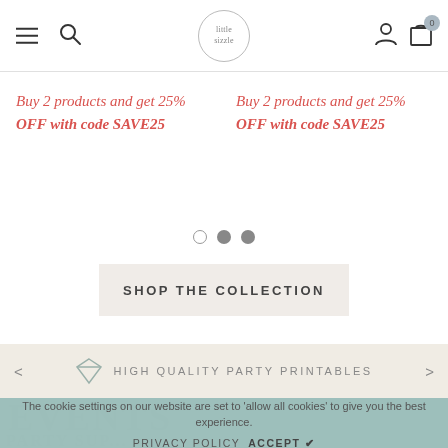[Figure (screenshot): Navigation bar with hamburger menu, search icon, Little Sizzle logo, user icon, and cart icon showing 0]
Buy 2 products and get 25% OFF with code SAVE25
Buy 2 products and get 25% OFF with code SAVE25
[Figure (other): Carousel pagination dots: one empty circle and two filled circles]
SHOP THE COLLECTION
HIGH QUALITY PARTY PRINTABLES
The cookie settings on our website are set to 'allow all cookies' to give you the best experience.
PRIVACY POLICY   ACCEPT ✔